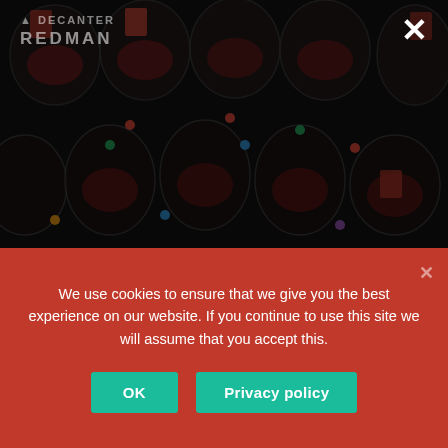[Figure (photo): Background photo of multiple wine glasses viewed from above on a table, with colored markers/dots on the glasses. The image is darkened with an overlay. In the upper left corner, partially visible website logo text 'DECANTER' or similar wine publication name.]
Decadence is on the send at our Sauternes-led seminars, the first two of the Ritz-Carlton series, featuring Introspective with legendary four-Michelin-star director, Lee Brian Schrager and acclaimed food writer Adeena Sussman. Its mouthwatering menu is based on...
We use cookies to ensure that we give you the best experience on our website. If you continue to use this site we will assume that you accept this.
OK
Privacy policy